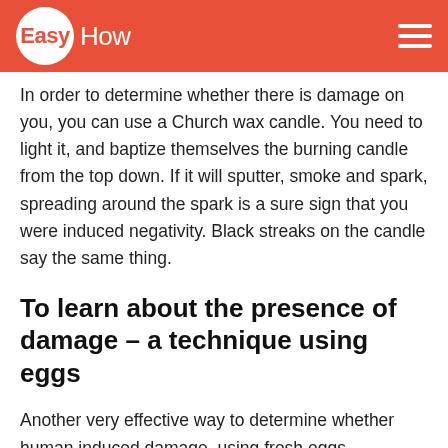EasyHow
In order to determine whether there is damage on you, you can use a Church wax candle. You need to light it, and baptize themselves the burning candle from the top down. If it will sputter, smoke and spark, spreading around the spark is a sure sign that you were induced negativity. Black streaks on the candle say the same thing.
To learn about the presence of damage – a technique using eggs
Another very effective way to determine whether human induced damage, using fresh eggs, preferably directly from the chicken. This method